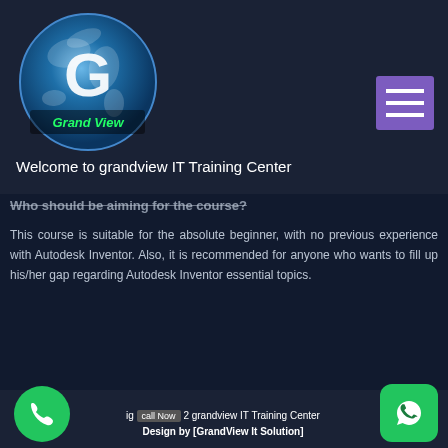[Figure (logo): Grand View IT Training Center globe logo with 'Grand View' text]
[Figure (other): Purple hamburger menu button with three white horizontal lines]
Welcome to grandview IT Training Center
Who should be aiming for the course?
This course is suitable for the absolute beginner, with no previous experience with Autodesk Inventor. Also, it is recommended for anyone who wants to fill up his/her gap regarding Autodesk Inventor essential topics.
ig call Now 2 grandview IT Training Center Design by [GrandView It Solution]